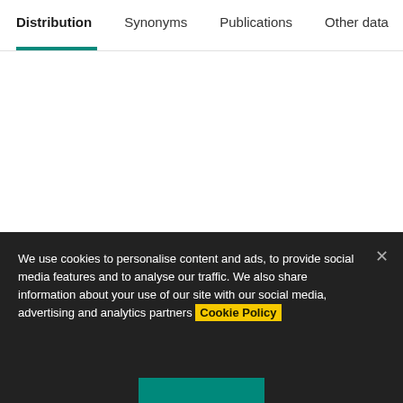Distribution | Synonyms | Publications | Other data
We use cookies to personalise content and ads, to provide social media features and to analyse our traffic. We also share information about your use of our site with our social media, advertising and analytics partners Cookie Policy